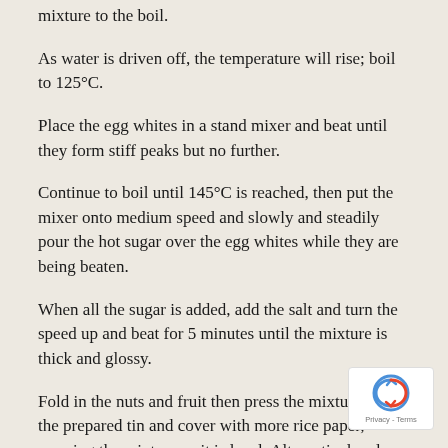mixture to the boil.
As water is driven off, the temperature will rise; boil to 125°C.
Place the egg whites in a stand mixer and beat until they form stiff peaks but no further.
Continue to boil until 145°C is reached, then put the mixer onto medium speed and slowly and steadily pour the hot sugar over the egg whites while they are being beaten.
When all the sugar is added, add the salt and turn the speed up and beat for 5 minutes until the mixture is thick and glossy.
Fold in the nuts and fruit then press the mixture into the prepared tin and cover with more rice paper, pressing the mixture so it is level. Alternatively, place between two sheets of siliconised paper and roll to make an even 2cm thickness. Allow to cool before cutting with a lightly oiled